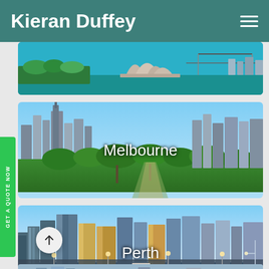Kieran Duffey
[Figure (photo): Aerial view of Sydney Opera House and harbour, partially visible at top of page]
[Figure (photo): City skyline of Melbourne with green parklands and blue sky, city name overlay reading Melbourne]
[Figure (photo): Perth waterfront at dusk with city skyline and lights, city name overlay reading Perth]
[Figure (photo): Partial view of another Australian city skyline at bottom of page, cropped]